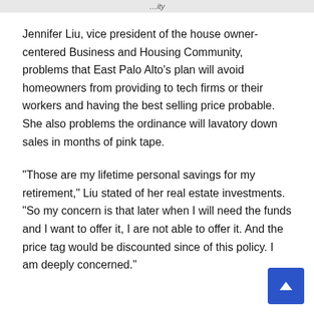…ity
Jennifer Liu, vice president of the house owner-centered Business and Housing Community, problems that East Palo Alto’s plan will avoid homeowners from providing to tech firms or their workers and having the best selling price probable. She also problems the ordinance will lavatory down sales in months of pink tape.
“Those are my lifetime personal savings for my retirement,” Liu stated of her real estate investments. “So my concern is that later when I will need the funds and I want to offer it, I are not able to offer it. And the price tag would be discounted since of this policy. I am deeply concerned.”